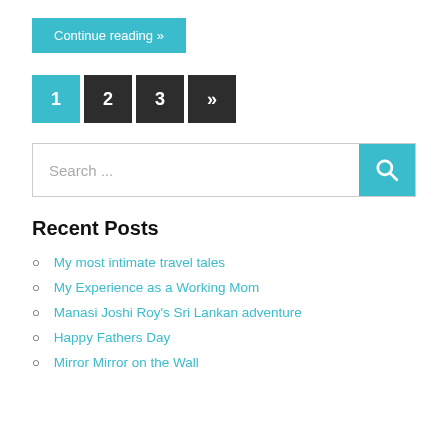Continue reading »
1 2 3 »
Search ...
Recent Posts
My most intimate travel tales
My Experience as a Working Mom
Manasi Joshi Roy's Sri Lankan adventure
Happy Fathers Day
Mirror Mirror on the Wall